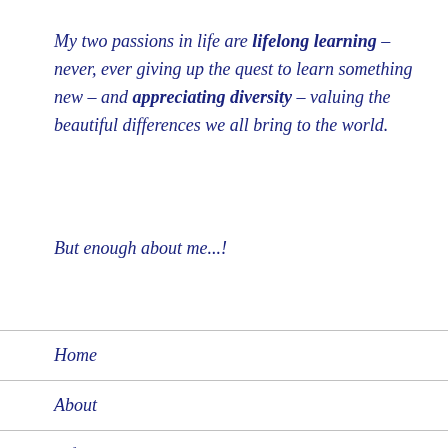My two passions in life are lifelong learning – never, ever giving up the quest to learn something new – and appreciating diversity – valuing the beautiful differences we all bring to the world.
But enough about me...!
Home
About
Life's Lessons Learned
Words to Live By